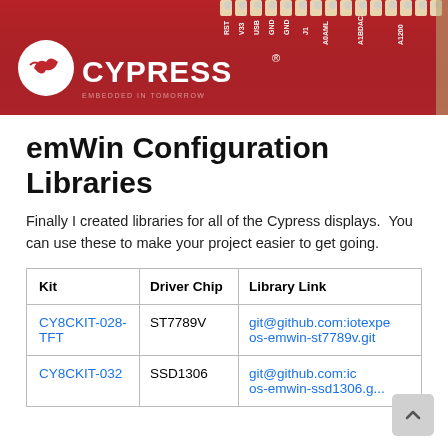[Figure (photo): Photo of a red Cypress microcontroller development board (PCB) showing the Cypress logo and pin headers along the top edge.]
emWin Configuration Libraries
Finally I created libraries for all of the Cypress displays.  You can use these to make your project easier to get going.
| Kit | Driver Chip | Library Link |
| --- | --- | --- |
| CY8CKIT-028-TFT | ST7789V | git@github.com:iotexpe os-emwin-st7789v.git |
| CY8CKIT-032 | SSD1306 | git@github.com:ic os-emwin-ssd1306.g... |